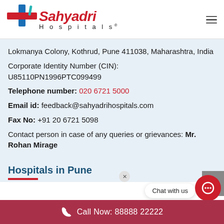[Figure (logo): Sahyadri Hospitals logo with red cross/plus symbol and text]
Lokmanya Colony, Kothrud, Pune 411038, Maharashtra, India
Corporate Identity Number (CIN): U85110PN1996PTC099499
Telephone number: 020 6721 5000
Email id: feedback@sahyadrihospitals.com
Fax No: +91 20 6721 5098
Contact person in case of any queries or grievances: Mr. Rohan Mirage
Hospitals in Pune
Call Now: 88888 22222